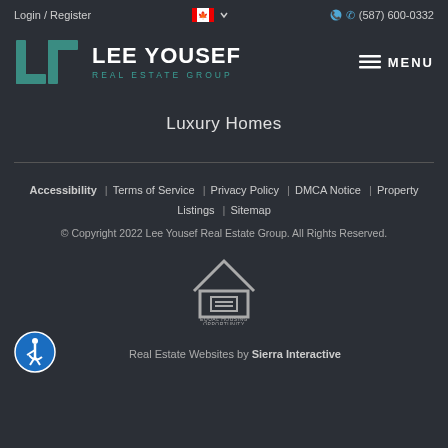Login / Register  (587) 600-0332
[Figure (logo): Lee Yousef Real Estate Group logo with teal bracket icon and text]
Luxury Homes
Accessibility | Terms of Service | Privacy Policy | DMCA Notice | Property Listings | Sitemap
© Copyright 2022 Lee Yousef Real Estate Group. All Rights Reserved.
[Figure (logo): Equal Housing Opportunity logo]
Real Estate Websites by Sierra Interactive